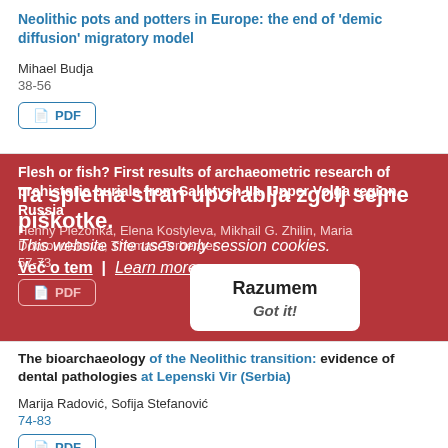Neolithic pots and potters in Europe: the end of ‘demic diffusion’ migratory model
Mihael Budja
38-56
PDF
Flesh or fish? First results of archaeometric research of prehistoric burials from Sakhtysh IIa, Upper Volga region, Russia
Henny Piezonka, Elena Kostyleva, Mikhail G. Zhilin, Maria Dobrovolskova, Thomas Terberger
57-73
PDF
Ta spletna stran uporablja zgolj sejne piškotke.
This website site uses only session cookies.
Več o tem | Learn more
Razumem
Got it!
The bioarchaeology of the Neolithic transition: evidence of dental pathologies at Lepenski Vir (Serbia)
Marija Radović, Sofija Stefanović
74-83